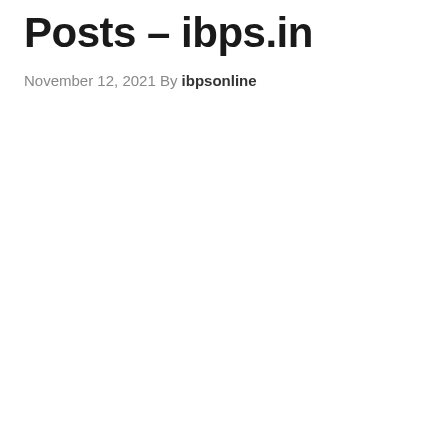Posts – ibps.in
November 12, 2021 By ibpsonline